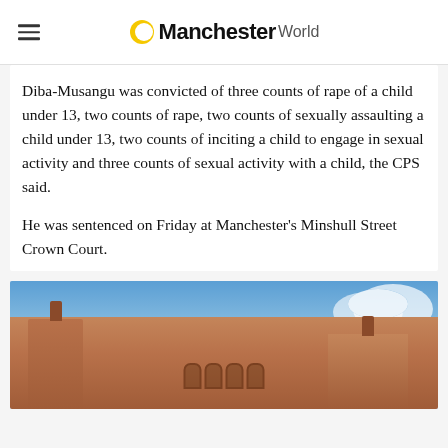Manchester World
Diba-Musangu was convicted of three counts of rape of a child under 13, two counts of rape, two counts of sexually assaulting a child under 13, two counts of inciting a child to engage in sexual activity and three counts of sexual activity with a child, the CPS said.
He was sentenced on Friday at Manchester's Minshull Street Crown Court.
[Figure (photo): Exterior photograph of Minshull Street Crown Court, a red brick Victorian Gothic building with towers, arches and ornate stonework against a blue sky with clouds.]